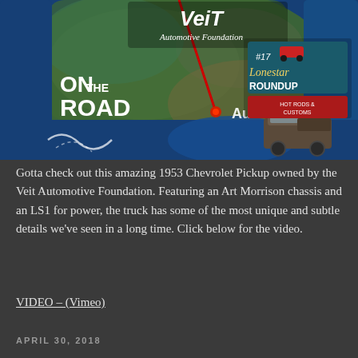[Figure (screenshot): Promotional image for 'On The Road' segment by Veit Automotive Foundation showing a 1953 Chevrolet Pickup truck against a map of North America with markers for Austin and a sign reading 'Lonestar Roundup #17'. The Veit Automotive Foundation logo appears at the top.]
Gotta check out this amazing 1953 Chevrolet Pickup owned by the Veit Automotive Foundation. Featuring an Art Morrison chassis and an LS1 for power, the truck has some of the most unique and subtle details we've seen in a long time. Click below for the video.
VIDEO – (Vimeo)
APRIL 30, 2018